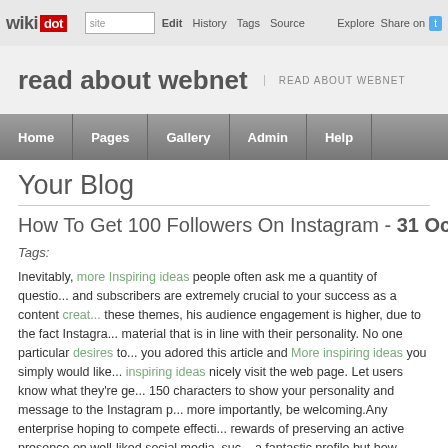wikidot | site Edit History Tags Source Explore Share on [Twitter]
read about webnet  READ ABOUT WEBNET
Home  Pages  Gallery  Admin  Help
Your Blog
How To Get 100 Followers On Instagram - 31 Oct
Tags:
Inevitably, more Inspiring ideas people often ask me a quantity of questio... and subscribers are extremely crucial to your success as a content creat... these themes, his audience engagement is higher, due to the fact Instagra... material that is in line with their personality. No one particular desires to... you adored this article and More inspiring ideas you simply would like... inspiring ideas nicely visit the web page. Let users know what they're ge... 150 characters to show your personality and message to the Instagram p... more importantly, be welcoming.Any enterprise hoping to compete effecti... rewards of preserving an active presence on well-liked social media, suc... a fantastic profile but how would folks know about it? To get your ve... wonderful profile is not adequate. You should make your self visible. The...